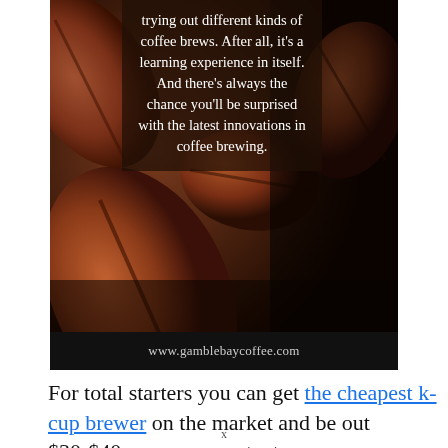[Figure (photo): Close-up photo of roasted coffee beans with a semi-transparent dark overlay box containing white text about trying different coffee brews and innovations in coffee brewing. Bottom bar shows www.gamblebaycoffee.com]
For total starters you can get the cheapest k-cup brewer on the market and be out $30-$40 or you can get a top
x